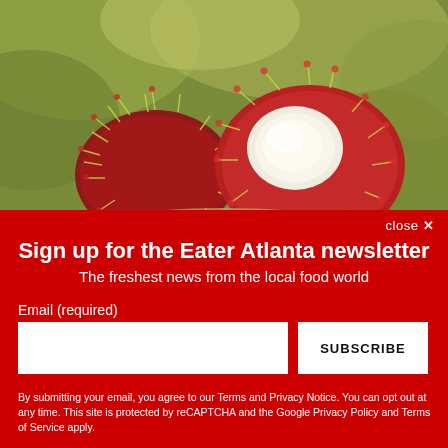[Figure (photo): Close-up photo of rambutan fruits being held, showing the spiky red exterior and white flesh against a blurred green background]
close ✕
Sign up for the Eater Atlanta newsletter
The freshest news from the local food world
Email (required)
SUBSCRIBE
By submitting your email, you agree to our Terms and Privacy Notice. You can opt out at any time. This site is protected by reCAPTCHA and the Google Privacy Policy and Terms of Service apply.